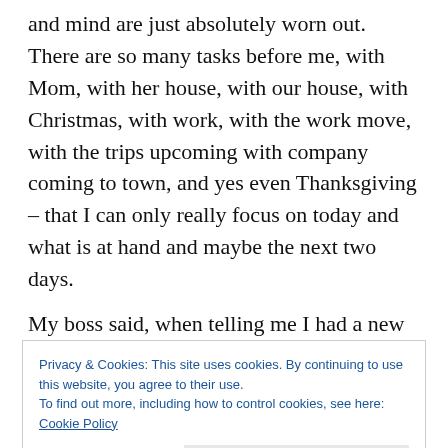and mind are just absolutely worn out. There are so many tasks before me, with Mom, with her house, with our house, with Christmas, with work, with the work move, with the trips upcoming with company coming to town, and yes even Thanksgiving – that I can only really focus on today and what is at hand and maybe the next two days.
My boss said, when telling me I had a new state
Privacy & Cookies: This site uses cookies. By continuing to use this website, you agree to their use.
To find out more, including how to control cookies, see here: Cookie Policy
Close and accept
when you have a barrel of sand already